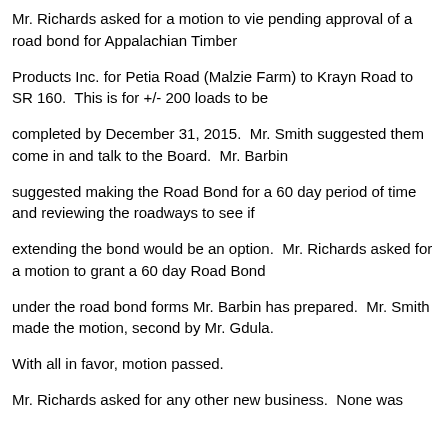Mr. Richards asked for a motion to vie pending approval of a road bond for Appalachian Timber
Products Inc. for Petia Road (Malzie Farm) to Krayn Road to SR 160.  This is for +/- 200 loads to be
completed by December 31, 2015.  Mr. Smith suggested them come in and talk to the Board.  Mr. Barbin
suggested making the Road Bond for a 60 day period of time and reviewing the roadways to see if
extending the bond would be an option.  Mr. Richards asked for a motion to grant a 60 day Road Bond
under the road bond forms Mr. Barbin has prepared.  Mr. Smith made the motion, second by Mr. Gdula.
With all in favor, motion passed.
Mr. Richards asked for any other new business.  None was